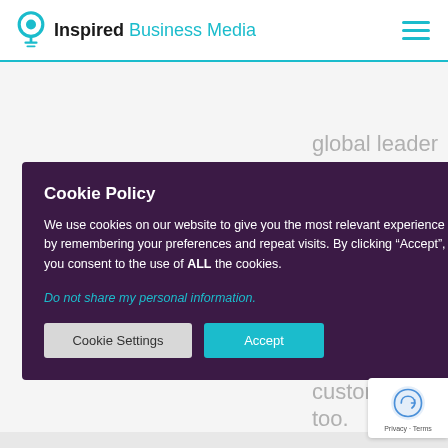Inspired Business Media
global leader in advocacy and referral marketing. our customers have friends, let's make them customers too.
[Figure (screenshot): White card/image placeholder area on grey background]
Cookie Policy
We use cookies on our website to give you the most relevant experience by remembering your preferences and repeat visits. By clicking “Accept”, you consent to the use of ALL the cookies.
Do not share my personal information.
Cookie Settings  Accept